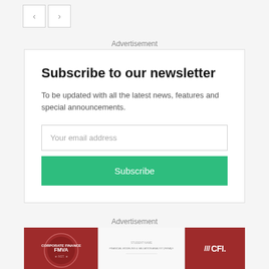[Figure (other): Navigation arrow buttons (previous and next) at top left]
Advertisement
Subscribe to our newsletter
To be updated with all the latest news, features and special announcements.
Your email address
Subscribe
Advertisement
[Figure (logo): CFI (Corporate Finance Institute) FMVA certification banner with red background, certificate image in center, and CFI logo on right]